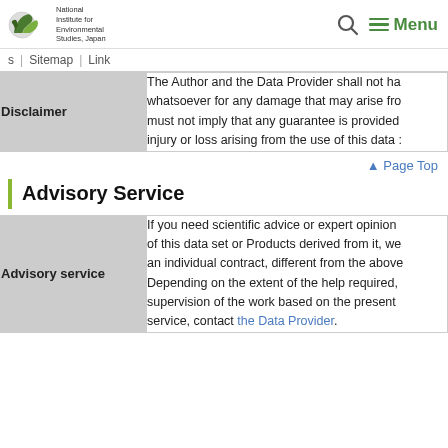National Institute for Environmental Studies, Japan | Menu
s | Sitemap | Link
| Disclaimer | Content |
| --- | --- |
| Disclaimer | The Author and the Data Provider shall not ha... whatsoever for any damage that may arise fro... must not imply that any guarantee is provided... injury or loss arising from the use of this data : |
▲ Page Top
Advisory Service
| Advisory service | Content |
| --- | --- |
| Advisory service | If you need scientific advice or expert opinion of this data set or Products derived from it, we an individual contract, different from the above Depending on the extent of the help required, supervision of the work based on the present service, contact the Data Provider. |